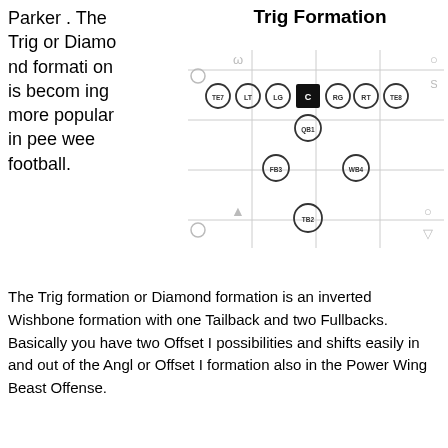Trig Formation
Parker . The Trig or Diamond formation is becoming more popular in pee wee football.
[Figure (other): Football field diagram showing the Trig Formation (also called Diamond formation). Players shown as circles with labels: TE7, LT, LG, C (center, filled black), RG, RT, TE8 on the line of scrimmage. QB1 behind center, FB3 and WB4 in middle row, TB2 at the back. Faint yard line markers and player position symbols visible.]
The Trig formation or Diamond formation is an inverted Wishbone formation with one Tailback and two Fullbacks. Basically you have two Offset I possibilities and shifts easily in and out of the Angl or Offset I formation also in the Power Wing Beast Offense.